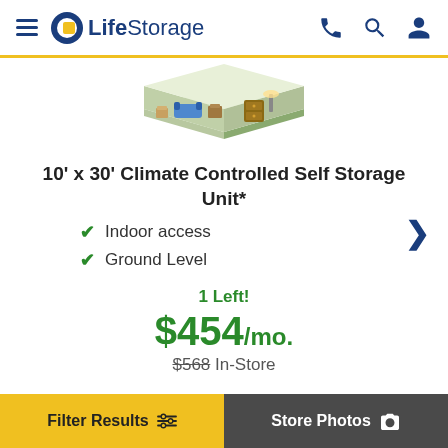LifeStorage
[Figure (illustration): Isometric illustration of a storage unit interior showing furniture and boxes packed inside a 10x30 storage unit.]
10' x 30' Climate Controlled Self Storage Unit*
Indoor access
Ground Level
1 Left!
$454/mo.
$568 In-Store
Filter Results  |  Store Photos